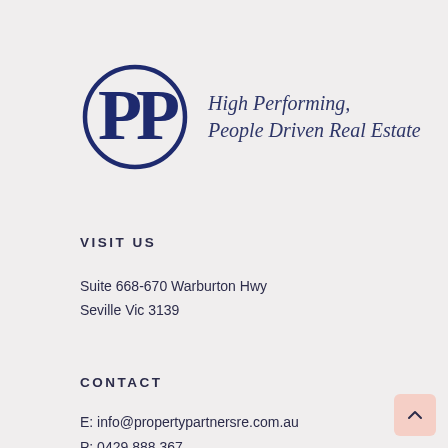[Figure (logo): Property Partners real estate logo: two overlapping P letters inside a circle, dark navy blue, with italic serif tagline 'High Performing, People Driven Real Estate']
VISIT US
Suite 668-670 Warburton Hwy
Seville Vic 3139
CONTACT
E: info@propertypartnersre.com.au
P: 0429 888 367